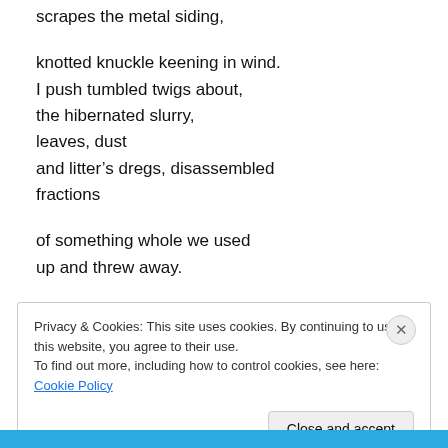scrapes the metal siding,
knotted knuckle keening in wind.
I push tumbled twigs about,
the hibernated slurry,
leaves, dust
and litter’s dregs, disassembled
fractions
of something whole we used
up and threw away.
Privacy & Cookies: This site uses cookies. By continuing to use this website, you agree to their use.
To find out more, including how to control cookies, see here: Cookie Policy
Close and accept